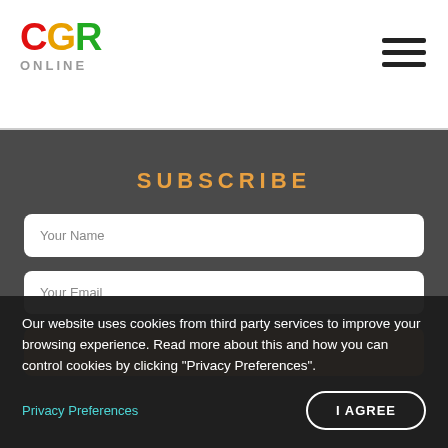[Figure (logo): CGR Online logo with colorful letters C (red), G (orange/yellow), R (green) and ONLINE text below in grey]
[Figure (other): Hamburger menu icon with three horizontal bars]
SUBSCRIBE
Your Name
Your Email
Our website uses cookies from third party services to improve your browsing experience. Read more about this and how you can control cookies by clicking "Privacy Preferences".
Privacy Preferences
I AGREE